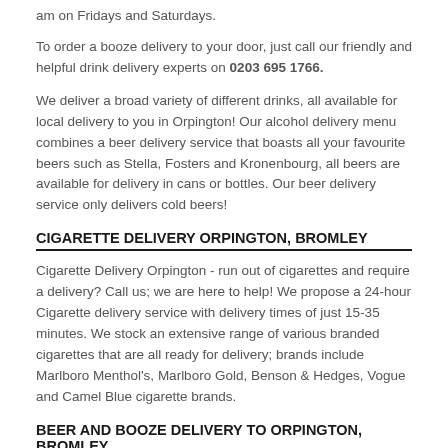am on Fridays and Saturdays.
To order a booze delivery to your door, just call our friendly and helpful drink delivery experts on 0203 695 1766.
We deliver a broad variety of different drinks, all available for local delivery to you in Orpington! Our alcohol delivery menu combines a beer delivery service that boasts all your favourite beers such as Stella, Fosters and Kronenbourg, all beers are available for delivery in cans or bottles. Our beer delivery service only delivers cold beers!
CIGARETTE DELIVERY ORPINGTON, BROMLEY
Cigarette Delivery Orpington - run out of cigarettes and require a delivery? Call us; we are here to help! We propose a 24-hour Cigarette delivery service with delivery times of just 15-35 minutes. We stock an extensive range of various branded cigarettes that are all ready for delivery; brands include Marlboro Menthol's, Marlboro Gold, Benson & Hedges, Vogue and Camel Blue cigarette brands.
BEER AND BOOZE DELIVERY TO ORPINGTON, BROMLEY.
Beer Delivery - no matter whether you fancy your beer delivered in a can or a bottle - we are most likely to stock it! We offer a 24-hour beer delivery